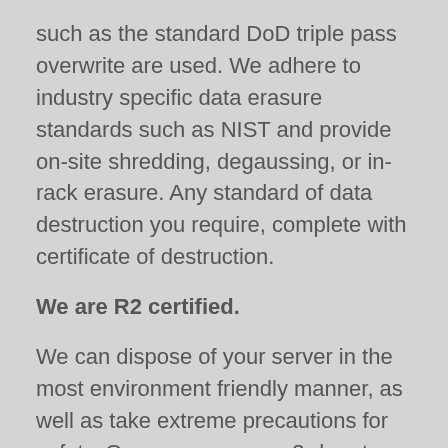such as the standard DoD triple pass overwrite are used. We adhere to industry specific data erasure standards such as NIST and provide on-site shredding, degaussing, or in-rack erasure. Any standard of data destruction you require, complete with certificate of destruction.
We are R2 certified.
We can dispose of your server in the most environment friendly manner, as well as take extreme precautions for safety. Our processes are 3rd party audited to ensure that we meet certain data security and